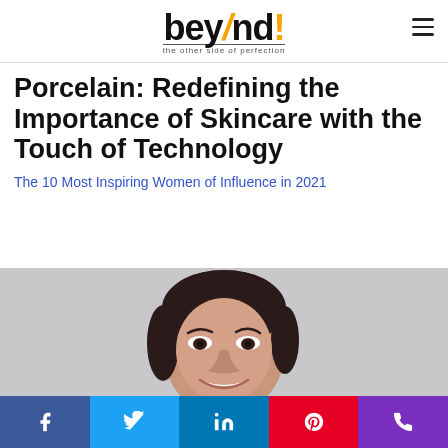beyond! the other side of perfection
Porcelain: Redefining the Importance of Skincare with the Touch of Technology
The 10 Most Inspiring Women of Influence in 2021
[Figure (photo): Portrait photo of a smiling Asian woman with dark hair pulled back, against a light grey background]
Social share buttons: Facebook, Twitter, LinkedIn, Pinterest, Phone